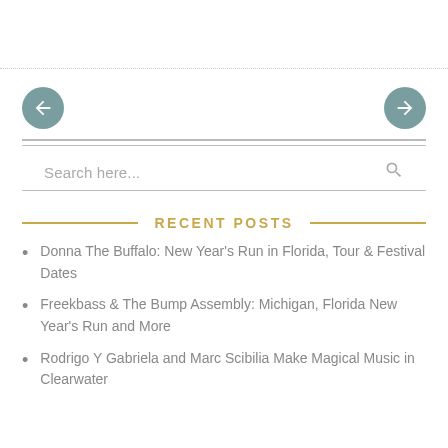[Figure (other): Navigation buttons row with left arrow button and right arrow button, separated by dotted line and double horizontal rules]
Search here...
RECENT POSTS
Donna The Buffalo: New Year's Run in Florida, Tour & Festival Dates
Freekbass & The Bump Assembly: Michigan, Florida New Year's Run and More
Rodrigo Y Gabriela and Marc Scibilia Make Magical Music in Clearwater